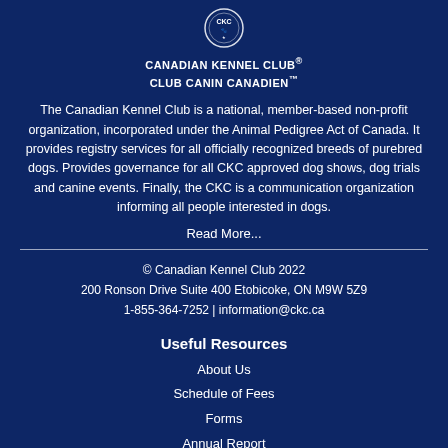[Figure (logo): Canadian Kennel Club / Club Canin Canadien logo with circular emblem and bilingual text]
The Canadian Kennel Club is a national, member-based non-profit organization, incorporated under the Animal Pedigree Act of Canada. It provides registry services for all officially recognized breeds of purebred dogs. Provides governance for all CKC approved dog shows, dog trials and canine events. Finally, the CKC is a communication organization informing all people interested in dogs.
Read More...
© Canadian Kennel Club 2022
200 Ronson Drive Suite 400 Etobicoke, ON M9W 5Z9
1-855-364-7252 | information@ckc.ca
Useful Resources
About Us
Schedule of Fees
Forms
Annual Report
News